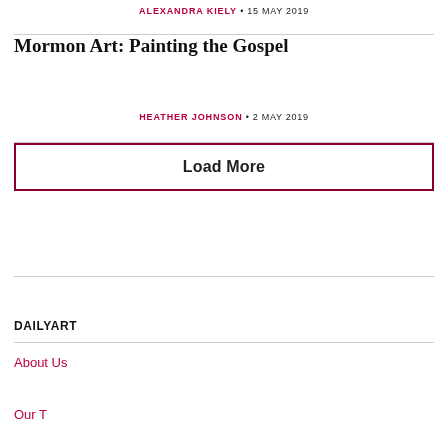ALEXANDRA KIELY • 15 MAY 2019
Mormon Art: Painting the Gospel
HEATHER JOHNSON • 2 MAY 2019
Load More
DAILYART
About Us
Our T...